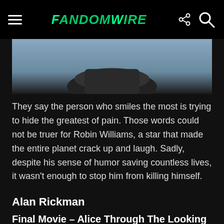FandomWire
[Figure (photo): Partial photo of a person wearing a dark shirt, cropped to show neck/chin area against a light sky background]
They say the person who smiles the most is trying to hide the greatest of pain. Those words could not be truer for Robin Williams, a star that made the entire planet crack up and laugh. Sadly, despite his sense of humor saving countless lives, it wasn't enough to stop him from killing himself.
Alan Rickman
Final Movie – Alice Through The Looking Glass